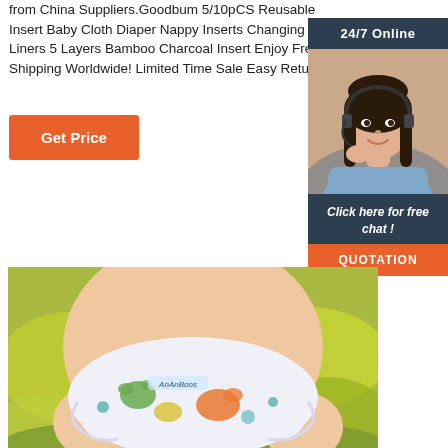from China Suppliers.Goodbum 5/10pCS Reusable Insert Baby Cloth Diaper Nappy Inserts Changing Liners 5 Layers Bamboo Charcoal Insert Enjoy Free Shipping Worldwide! Limited Time Sale Easy Return.
[Figure (illustration): Orange 'Get Price' button]
[Figure (illustration): 24/7 Online customer service widget with a woman wearing a headset, 'Click here for free chat!' text, and an orange QUOTATION button]
[Figure (photo): Baby wearing a colorful dinosaur-print cloth diaper (AnAnBoos brand) outdoors with yellow flowers in background]